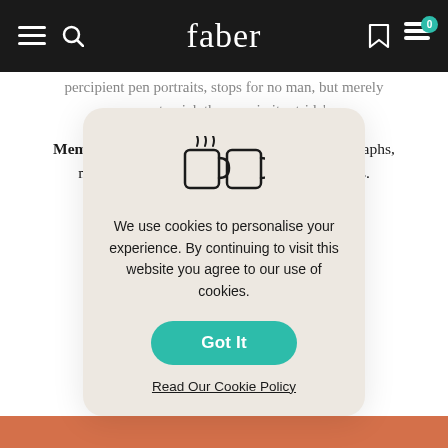faber
percipient pen portraits, stops for no man, but merely seems to pick them up in its stride'.
Memoirs of a Polyglot is illustrated with photographs, many of them from Gerhardie's family albums.
'To th... rtant ne... m
'Willia... came
'In r... nett
[Figure (infographic): Cookie consent modal with cookie icon, text 'We use cookies to personalise your experience. By continuing to visit this website you agree to our use of cookies.', a teal 'Got It' button, and a 'Read Our Cookie Policy' link]